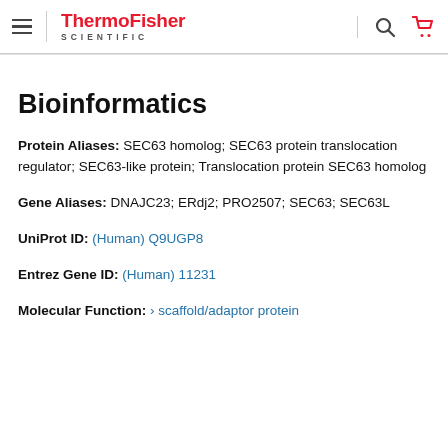ThermoFisher SCIENTIFIC
Bioinformatics
Protein Aliases: SEC63 homolog; SEC63 protein translocation regulator; SEC63-like protein; Translocation protein SEC63 homolog
Gene Aliases: DNAJC23; ERdj2; PRO2507; SEC63; SEC63L
UniProt ID: (Human) Q9UGP8
Entrez Gene ID: (Human) 11231
Molecular Function: > scaffold/adaptor protein